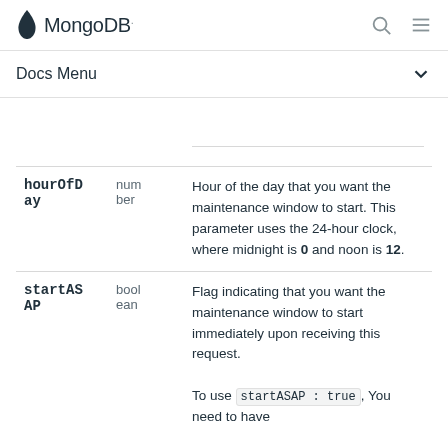MongoDB
Docs Menu
| Parameter | Type | Description |
| --- | --- | --- |
| hourOfDay | number | Hour of the day that you want the maintenance window to start. This parameter uses the 24-hour clock, where midnight is 0 and noon is 12. |
| startASAP | boolean | Flag indicating that you want the maintenance window to start immediately upon receiving this request.

To use startASAP : true, You need to have |